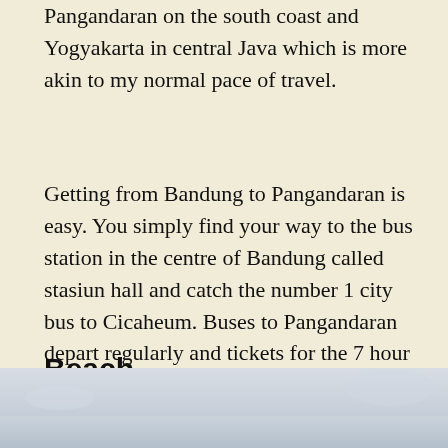Pangandaran on the south coast and Yogyakarta in central Java which is more akin to my normal pace of travel.
Getting from Bandung to Pangandaran is easy. You simply find your way to the bus station in the centre of Bandung called stasiun hall and catch the number 1 city bus to Cicaheum. Buses to Pangandaran depart regularly and tickets for the 7 hour journey can be bought on the spot for about Rp35,000. It's not a particularly pleasant journey because the condition of the road is poor, but the scenery in parts is stunning.
Beach
[Figure (photo): A beach scene with light sky and water, partially visible at the bottom of the page.]